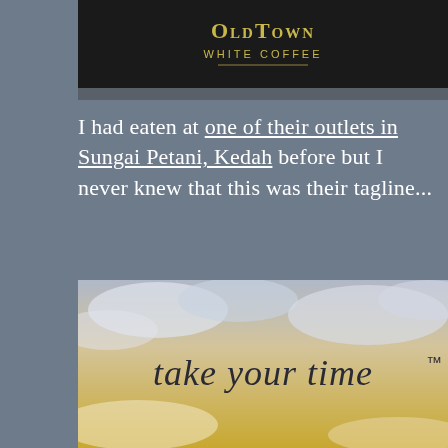[Figure (photo): OldTown White Coffee sign/logo on dark background]
I had eaten at one of their outlets in Sungai Petani, Kedah before but I never knew that this was their tagline...
[Figure (photo): Photo of OldTown White Coffee tagline 'take your time™' printed over a golden cloudy sky background]